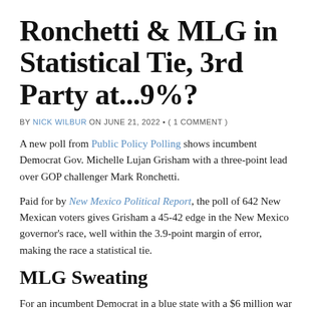Ronchetti & MLG in Statistical Tie, 3rd Party at...9%?
BY NICK WILBUR ON JUNE 21, 2022 • ( 1 COMMENT )
A new poll from Public Policy Polling shows incumbent Democrat Gov. Michelle Lujan Grisham with a three-point lead over GOP challenger Mark Ronchetti.
Paid for by New Mexico Political Report, the poll of 642 New Mexican voters gives Grisham a 45-42 edge in the New Mexico governor's race, well within the 3.9-point margin of error, making the race a statistical tie.
MLG Sweating
For an incumbent Democrat in a blue state with a $6 million war chest, the poll isn't good news for Grisham. Even worse,